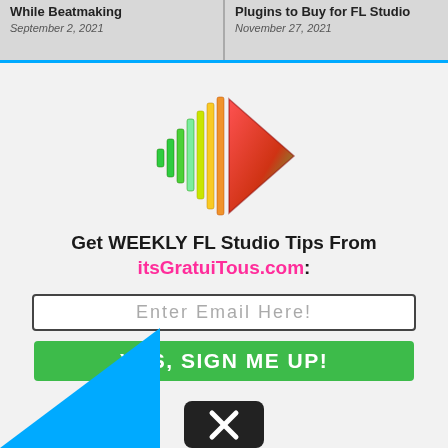While Beatmaking — September 2, 2021 | Plugins to Buy for FL Studio — November 27, 2021
[Figure (logo): itsGratuiTous.com logo: colorful sound wave bars (green, yellow, orange, red) with a red/green loudspeaker/play-button shape]
Get WEEKLY FL Studio Tips From itsGratuiTous.com:
[Figure (other): Email input field with placeholder text 'Enter Email Here!']
[Figure (other): Green button labeled 'YES, SIGN ME UP!']
[Figure (other): Dark close/dismiss button with white X icon]